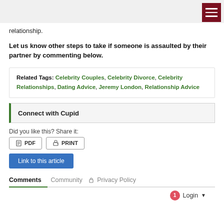relationship.
Let us know other steps to take if someone is assaulted by their partner by commenting below.
Related Tags: Celebrity Couples, Celebrity Divorce, Celebrity Relationships, Dating Advice, Jeremy London, Relationship Advice
Connect with Cupid
Did you like this? Share it:
PDF  PRINT
Link to this article
Comments  Community  Privacy Policy
1  Login